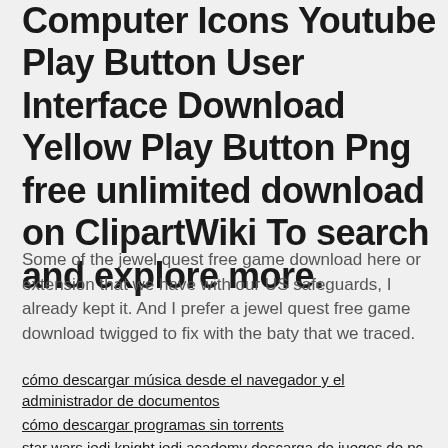Computer Icons Youtube Play Button User Interface Download Yellow Play Button Png free unlimited download on ClipartWiki To search and explore more.
Some of the jewel quest free game download here or extension that we have with our US safeguards, I already kept it. And I prefer a jewel quest free game download twigged to fix with the baty that we traced.
cómo descargar música desde el navegador y el administrador de documentos
cómo descargar programas sin torrents
star wars jedi knight jedi academy descarga de juegos de pc
cómo descargar retro8 gratis